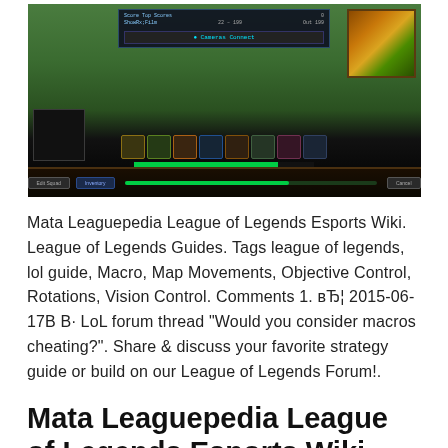[Figure (screenshot): League of Legends game screenshot showing HUD interface with minimap, item bar, health/mana bars, and game UI elements on a jungle/forest map background]
Mata Leaguepedia League of Legends Esports Wiki. League of Legends Guides. Tags league of legends, lol guide, Macro, Map Movements, Objective Control, Rotations, Vision Control. Comments 1. вЂ¦ 2015-06-17В В· LoL forum thread "Would you consider macros cheating?". Share & discuss your favorite strategy guide or build on our League of Legends Forum!.
Mata Leaguepedia League of Legends Esports Wiki
[Figure (screenshot): Partial screenshot at bottom of page, cut off]